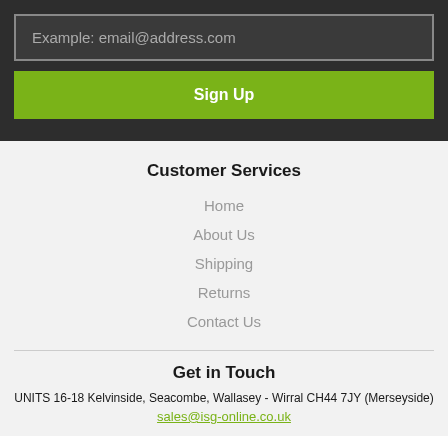Example: email@address.com
Sign Up
Customer Services
Home
About Us
Shipping
Returns
Contact Us
Get in Touch
UNITS 16-18 Kelvinside, Seacombe, Wallasey - Wirral CH44 7JY (Merseyside)
sales@isg-online.co.uk